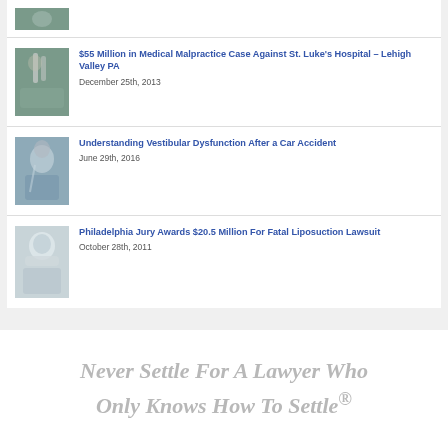[Figure (photo): Partial thumbnail of medical image at top, cropped]
$55 Million in Medical Malpractice Case Against St. Luke's Hospital – Lehigh Valley PA
December 25th, 2013
[Figure (photo): Photo of person holding their neck/head, car accident injury]
Understanding Vestibular Dysfunction After a Car Accident
June 29th, 2016
[Figure (photo): Photo of medical professional in surgical cap and mask]
Philadelphia Jury Awards $20.5 Million For Fatal Liposuction Lawsuit
October 28th, 2011
Never Settle For A Lawyer Who Only Knows How To Settle®